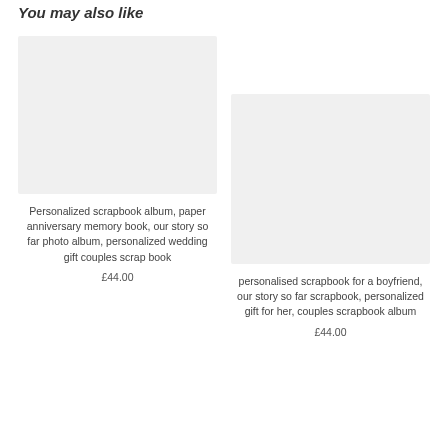You may also like
[Figure (photo): Placeholder image for left product (personalized scrapbook album)]
Personalized scrapbook album, paper anniversary memory book, our story so far photo album, personalized wedding gift couples scrap book
£44.00
[Figure (photo): Placeholder image for right product (personalised scrapbook for a boyfriend)]
personalised scrapbook for a boyfriend, our story so far scrapbook, personalized gift for her, couples scrapbook album
£44.00